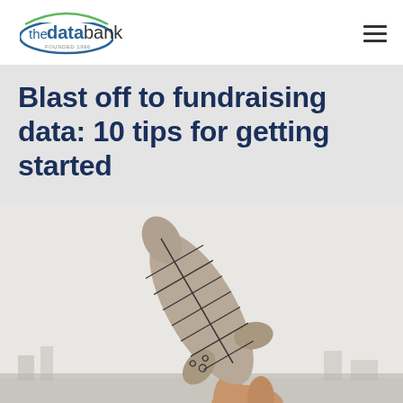the data bank
Blast off to fundraising data: 10 tips for getting started
[Figure (photo): A hand holding a cardboard laser-cut model of a rocket ship, held up against a light urban background.]